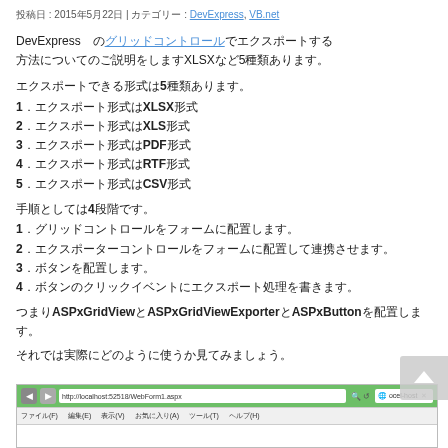投稿日 : 2015年5月22日 | カテゴリー : DevExpress, VB.net
DevExpress のグリッドコントロールでエクスポートする方法です。エクスポートする形式ですが、XLSXなど5種類あります。
エクスポートできる形式は5種類あります。
1．エクスポート形式はXLSX形式
2．エクスポート形式はXLS形式
3．エクスポート形式はPDF形式
4．エクスポート形式はRTF形式
5．エクスポート形式はCSV形式
手順としては4段階です。
1．グリッドコントロールをフォームに配置します。
2．エクスポーターコントロールをフォームに配置して連携させます。
3．ボタンを配置します。
4．ボタンのクリックイベントにエクスポート処理を書きます。
つまりASPxGridViewとASPxGridViewExporterとASPxButtonを配置します。
それでは実際にどのように使うか見てみましょう。
[Figure (screenshot): Browser window showing localhost:52518/WebForm1.aspx with green toolbar and menu bar showing ファイル(F) 編集(E) 表示(V) お気に入り(A) ツール(T) ヘルプ(H)]